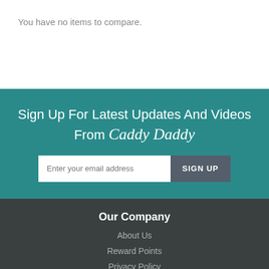You have no items to compare.
Sign Up For Latest Updates And Videos From Caddy Daddy
Enter your email address
SIGN UP
Our Company
About Us
Reward Points
Privacy Policy
FAQ